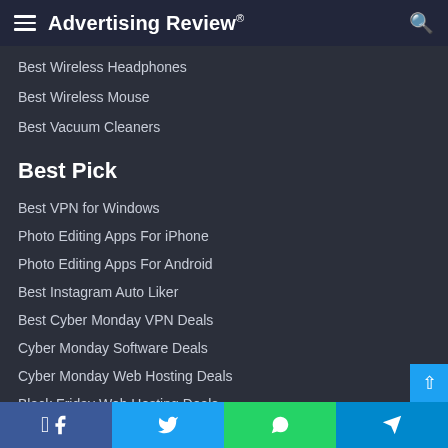Advertising Review®
Best Wireless Headphones
Best Wireless Mouse
Best Vacuum Cleaners
Best Pick
Best VPN for Windows
Photo Editing Apps For iPhone
Photo Editing Apps For Android
Best Instagram Auto Liker
Best Cyber Monday VPN Deals
Cyber Monday Software Deals
Cyber Monday Web Hosting Deals
Black Friday Web Hosting Deals
Best Tweet Deleter
Best FREE Slideshow Maker